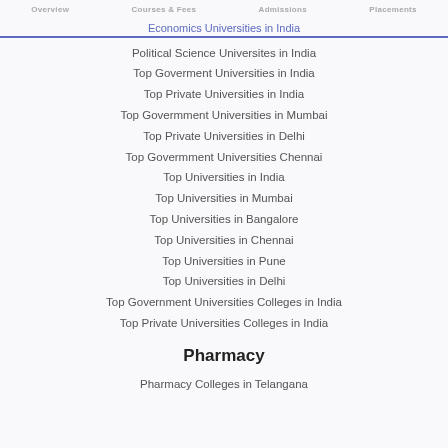Overview | Courses & Fees | Admissions | Placements
Economics Universities in India
Political Science Universites in India
Top Goverment Universities in India
Top Private Universities in India
Top Govermment Universities in Mumbai
Top Private Universities in Delhi
Top Govermment Universities Chennai
Top Universities in India
Top Universities in Mumbai
Top Universities in Bangalore
Top Universities in Chennai
Top Universities in Pune
Top Universities in Delhi
Top Government Universities Colleges in India
Top Private Universities Colleges in India
Pharmacy
Pharmacy Colleges in Telangana